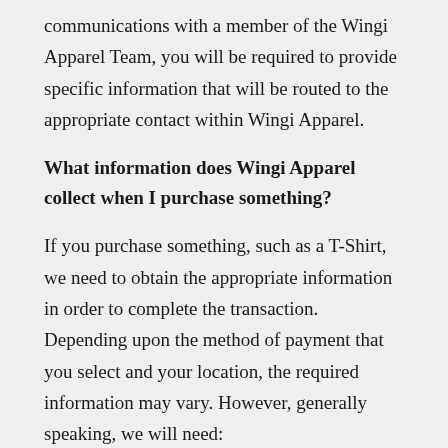communications with a member of the Wingi Apparel Team, you will be required to provide specific information that will be routed to the appropriate contact within Wingi Apparel.
What information does Wingi Apparel collect when I purchase something?
If you purchase something, such as a T-Shirt, we need to obtain the appropriate information in order to complete the transaction. Depending upon the method of payment that you select and your location, the required information may vary. However, generally speaking, we will need:
Your Name
Billing Address (for Credit Card Orders)